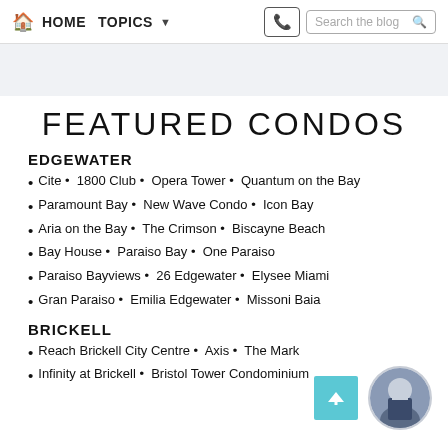HOME  TOPICS  Search the blog
FEATURED CONDOS
EDGEWATER
Cite  •  1800 Club  •  Opera Tower  •  Quantum on the Bay
Paramount Bay  •  New Wave Condo  •  Icon Bay
Aria on the Bay  •  The Crimson  •  Biscayne Beach
Bay House  •  Paraiso Bay  •  One Paraiso
Paraiso Bayviews  •  26 Edgewater  •  Elysee Miami
Gran Paraiso  •  Emilia Edgewater  •  Missoni Baia
BRICKELL
Reach Brickell City Centre  •  Axis  •  The Mark
Infinity at Brickell  •  Bristol Tower Condominium